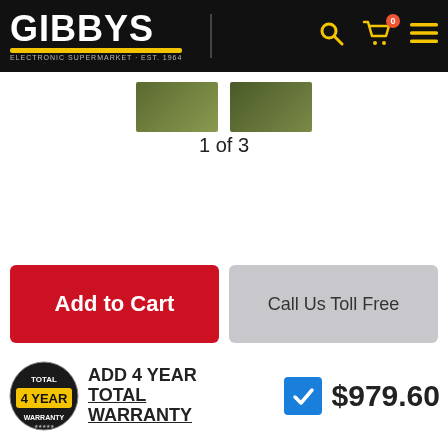[Figure (logo): Gibbys Electronic Supermarket logo on black navigation bar with search, cart (0 items), and hamburger menu icons in yellow]
[Figure (photo): Product image strip showing 1 of 3 images]
1 of 3
[Figure (other): Add to Cart (red button) and Call Us Toll Free (grey button)]
[Figure (other): Total 4 Year Warranty badge with checkbox and price $979.60]